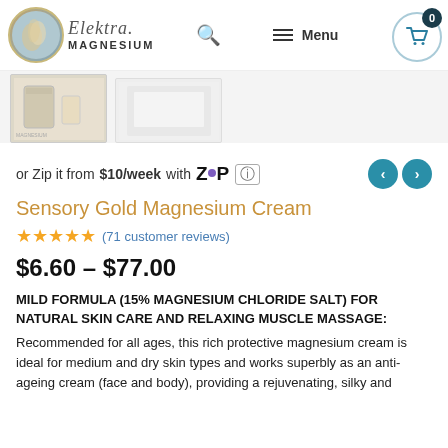Elektra MAGNESIUM — navigation header with logo, search, menu, cart
[Figure (photo): Product image thumbnails of Sensory Gold Magnesium Cream containers]
or Zip it from $10/week with Zip
Sensory Gold Magnesium Cream
★★★★★ (71 customer reviews)
$6.60 – $77.00
MILD FORMULA (15% MAGNESIUM CHLORIDE SALT) FOR NATURAL SKIN CARE AND RELAXING MUSCLE MASSAGE:
Recommended for all ages, this rich protective magnesium cream is ideal for medium and dry skin types and works superbly as an anti-ageing cream (face and body), providing a rejuvenating, silky and